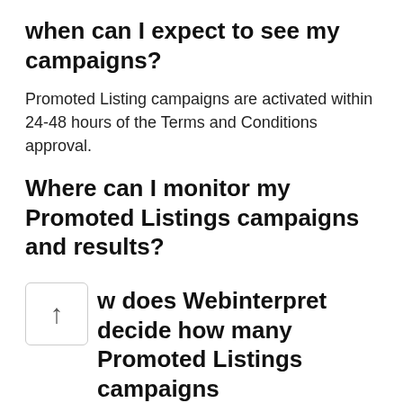when can I expect to see my campaigns?
Promoted Listing campaigns are activated within 24-48 hours of the Terms and Conditions approval.
Where can I monitor my Promoted Listings campaigns and results?
Within your WebInterpret Dashboard, you can view campaign performance and metrics such as overall total sales, ad costs and impressions (i.e. views and clicks).
Please see the article How to access and view reporting for a deeper breakdown.
How does Webinterpret decide how many Promoted Listings campaigns